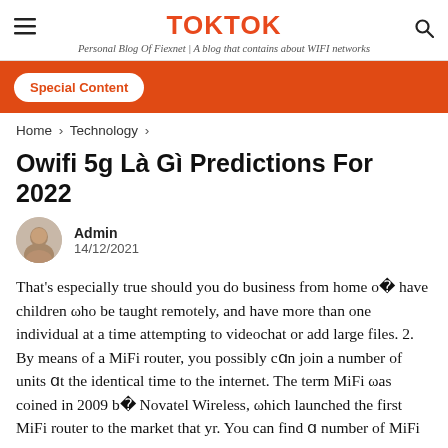TOKTOK — Personal Blog Of Fiexnet | A blog that contains about WIFI networks
[Figure (other): Orange banner with Special Content button]
Home > Technology >
Owifi 5g Là Gì Predictions For 2022
Admin
14/12/2021
That's especially true should you do business from home or have children who be taught remotely, and have more than one individual at a time attempting to videochat or add large files. 2. By means of a MiFi router, you possibly can join a number of units at the identical time to the internet. The term MiFi was coined in 2009 by Novatel Wireless, which launched the first MiFi router to the market that yr. You can find a number of MiFi